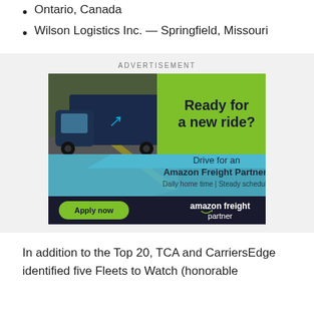Ontario, Canada (partial, cut off at top)
Wilson Logistics Inc. — Springfield, Missouri
[Figure (infographic): Amazon Freight Partner advertisement. Shows a dark blue Amazon semi-truck on a highway. Green upper-right area with bold text 'Ready for a new ride?'. Light blue lower area with text 'Drive for an Amazon Freight Partner! Daily home time | Steady schedule'. Dark bottom bar with green 'Apply now' button and 'amazon freight partner' logo with Amazon smile.]
In addition to the Top 20, TCA and CarriersEdge identified five Fleets to Watch (honorable